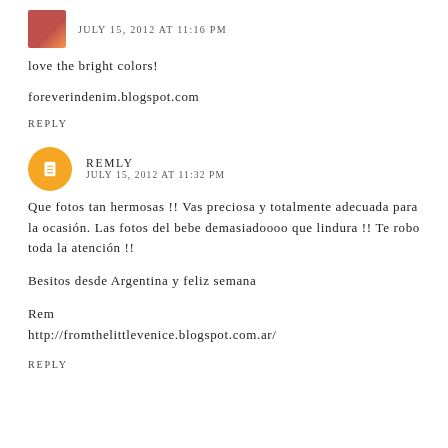JULY 15, 2012 AT 11:16 PM
love the bright colors!
foreverindenim.blogspot.com
REPLY
REMLY
JULY 15, 2012 AT 11:32 PM
Que fotos tan hermosas !! Vas preciosa y totalmente adecuada para la ocasión. Las fotos del bebe demasiadoooo que lindura !! Te robo toda la atención !!
Besitos desde Argentina y feliz semana
Rem
http://fromthelittlevenice.blogspot.com.ar/
REPLY